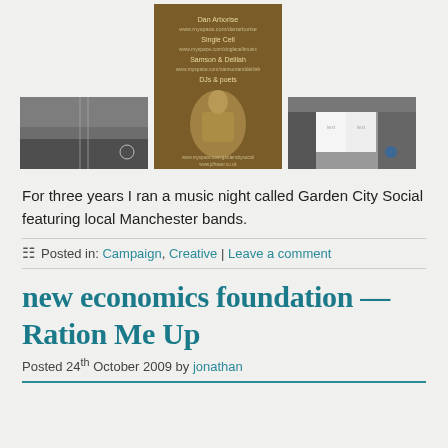[Figure (photo): Three images in a row: left is a black-and-white landscape photo, center is a brown poster for a music event featuring Dan Arborise, Single Cell, Samson & Delilah, DJs & poets with a sculptural figure illustration, right is a black-and-white photo of an open book with plants.]
For three years I ran a music night called Garden City Social featuring local Manchester bands.
Posted in: Campaign, Creative | Leave a comment
new economics foundation — Ration Me Up
Posted 24th October 2009 by jonathan